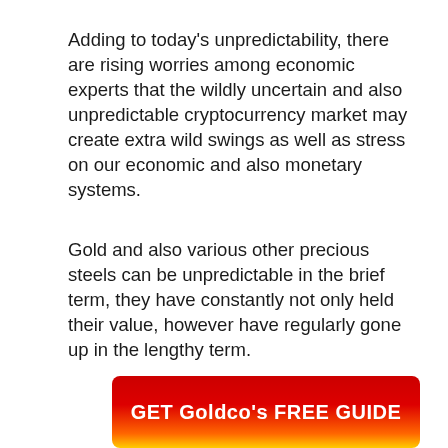Adding to today's unpredictability, there are rising worries among economic experts that the wildly uncertain and also unpredictable cryptocurrency market may create extra wild swings as well as stress on our economic and also monetary systems.
Gold and also various other precious steels can be unpredictable in the brief term, they have constantly not only held their value, however have regularly gone up in the lengthy term.
[Figure (other): Red and orange gradient button with bold white text reading 'GET Goldco's FREE GUIDE']